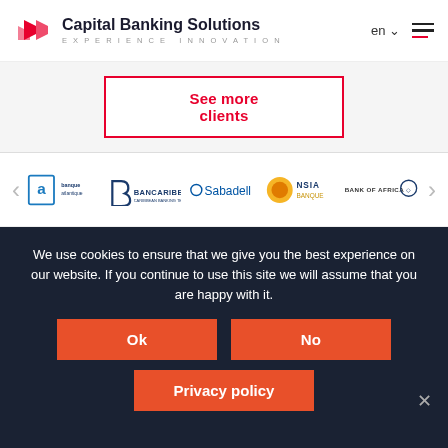[Figure (logo): Capital Banking Solutions logo with red geometric icon and company name, tagline: EXPERIENCE INNOVATION]
See more clients
[Figure (logo): Carousel of bank client logos: banque atlantique, BANCARIBE, Sabadell, NSIA Banque, Bank of Africa, with left/right navigation arrows]
We use cookies to ensure that we give you the best experience on our website. If you continue to use this site we will assume that you are happy with it.
Ok
No
Privacy policy